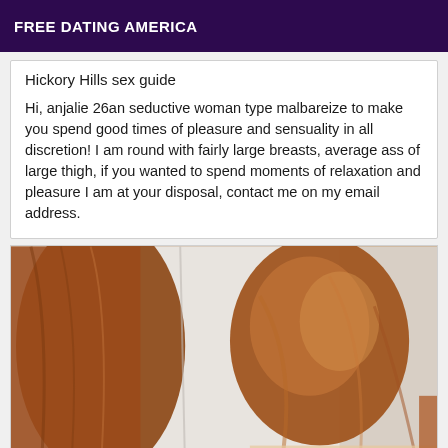FREE DATING AMERICA
Hickory Hills sex guide
Hi, anjalie 26an seductive woman type malbareize to make you spend good times of pleasure and sensuality in all discretion! I am round with fairly large breasts, average ass of large thigh, if you wanted to spend moments of relaxation and pleasure I am at your disposal, contact me on my email address.
[Figure (photo): Photo showing a person with long reddish-brown wavy hair, viewed from behind/side, with a blurred light background.]